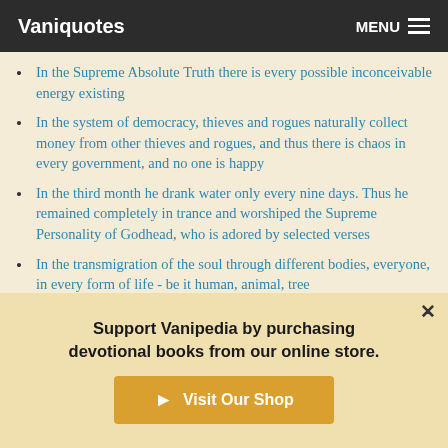Vaniquotes | MENU
In the Supreme Absolute Truth there is every possible inconceivable energy existing
In the system of democracy, thieves and rogues naturally collect money from other thieves and rogues, and thus there is chaos in every government, and no one is happy
In the third month he drank water only every nine days. Thus he remained completely in trance and worshiped the Supreme Personality of Godhead, who is adored by selected verses
In the transmigration of the soul through different bodies, everyone, in every form of life - be it human, animal, tree
Support Vanipedia by purchasing devotional books from our online store.
Visit Our Shop